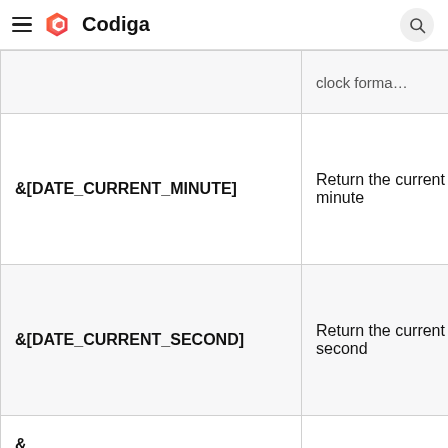Codiga
| Variable | Description |
| --- | --- |
|  | clock forma… |
| &[DATE_CURRENT_MINUTE] | Return the current minute |
| &[DATE_CURRENT_SECOND] | Return the current second |
| &[DATE_CURRENT_SECOND_UNIX] | Return seconds since the Unix epoch |
|  |  |